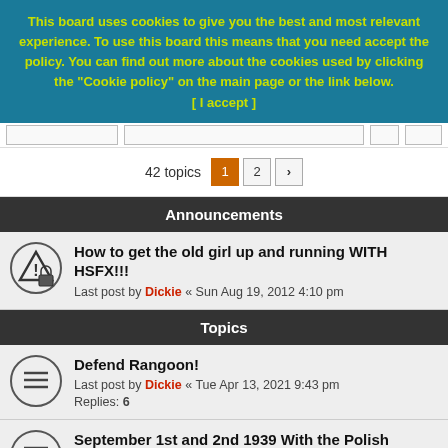This board uses cookies to give you the best and most relevant experience. To use this board this means that you need accept the policy. You can find out more about the cookies used by clicking the "Cookie policy" on the main page or the link below. [ I accept ]
42 topics  1  2  >
Announcements
How to get the old girl up and running WITH HSFX!!! Last post by Dickie « Sun Aug 19, 2012 4:10 pm
Topics
Defend Rangoon! Last post by Dickie « Tue Apr 13, 2021 9:43 pm Replies: 6
September 1st and 2nd 1939 With the Polish Airforce Last post by Kurse « Tue Mar 09, 2021 7:03 pm Replies: 2